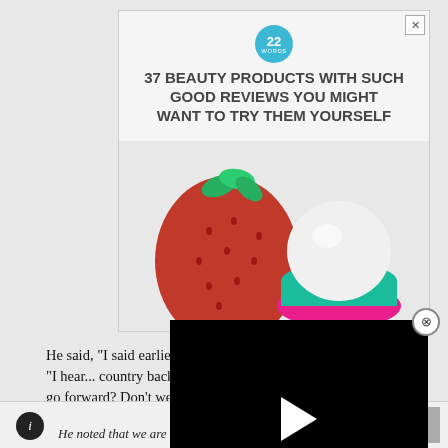[Figure (advertisement): Advertisement banner for '22 Words' website showing '37 Beauty Products With Such Good Reviews You Might Want To Try Them Yourself' with a strawberry and EOS lip balm product image]
[Figure (screenshot): Embedded video player overlay, black background with white play button triangle, CLOSE button at bottom right, and X close button at top right]
He said, "I said earlier today we ne... taillights."  Mr. Lewis noted, "I hear... country back – do we want to go back or do we want to go forward?  Don't we want to make progress?  Don't we want to continue to bring people together and lay down the burden of class and race?"
[Figure (logo): Small circular dark logo at bottom left]
He noted that we are a land of immigrants and he quoted A.